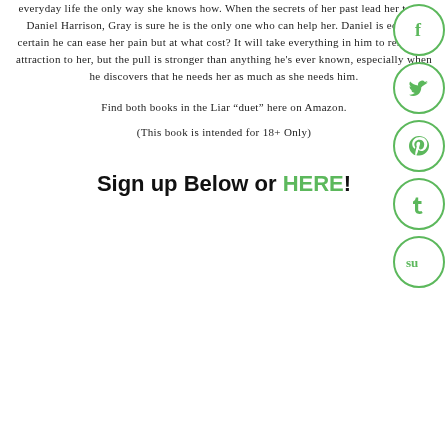everyday life the only way she knows how. When the secrets of her past lead her to Dr. Daniel Harrison, Gray is sure he is the only one who can help her. Daniel is equally certain he can ease her pain but at what cost? It will take everything in him to resist the attraction to her, but the pull is stronger than anything he's ever known, especially when he discovers that he needs her as much as she needs him.
Find both books in the Liar "duet" here on Amazon.
(This book is intended for 18+ Only)
Sign up Below or HERE!
[Figure (illustration): Five green circular social media icons arranged vertically on the right side: Facebook (f), Twitter (bird), Pinterest (P), Tumblr (t), StumbleUpon (su)]